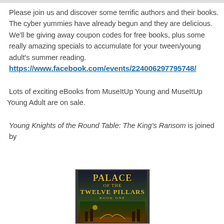Please join us and discover some terrific authors and their books. The cyber yummies have already begun and they are delicious. We'll be giving away coupon codes for free books, plus some really amazing specials to accumulate for your tween/young adult's summer reading.
https://www.facebook.com/events/224006297795748/
Lots of exciting eBooks from MuseItUp Young and MuseItUp Young Adult are on sale.
Young Knights of the Round Table: The King's Ransom is joined by
[Figure (photo): Book cover of 'Palace of the Twelve Pillars Book One' with ornate golden text on a dark background with a fantasy scene at the bottom.]